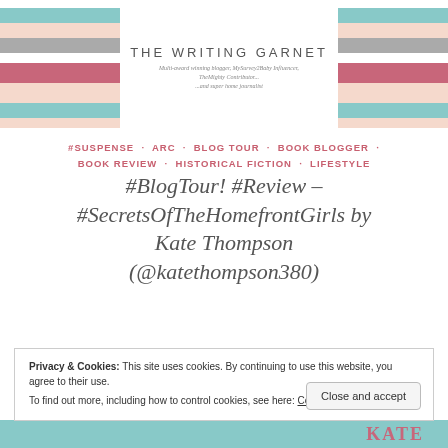[Figure (logo): The Writing Garnet blog header with colored horizontal stripes on left and right, site title and tagline in center]
#SUSPENSE · ARC · BLOG TOUR · BOOK BLOGGER · BOOK REVIEW · HISTORICAL FICTION · LIFESTYLE
#BlogTour! #Review – #SecretsOfTheHomefrontGirls by Kate Thompson (@katethompson380)
Privacy & Cookies: This site uses cookies. By continuing to use this website, you agree to their use.
To find out more, including how to control cookies, see here: Cookie Policy
Close and accept
[Figure (photo): Bottom strip showing beginning of book cover image with 'KATE' text in red]